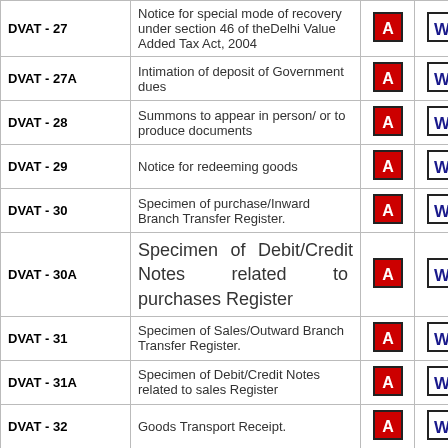| Form | Description | PDF | Word | Excel |
| --- | --- | --- | --- | --- |
| DVAT - 27 | Notice for special mode of recovery under section 46 of theDelhi Value Added Tax Act, 2004 | [pdf] | [word] | [excel] |
| DVAT - 27A | Intimation of deposit of Government dues | [pdf] | [word] | [excel] |
| DVAT - 28 | Summons to appear in person/ or to produce documents | [pdf] | [word] | [excel] |
| DVAT - 29 | Notice for redeeming goods | [pdf] | [word] | [excel] |
| DVAT - 30 | Specimen of purchase/Inward Branch Transfer Register. | [pdf] | [word] | [excel] |
| DVAT - 30A | Specimen of Debit/Credit Notes related to purchases Register | [pdf] | [word] | [excel] |
| DVAT - 31 | Specimen of Sales/Outward Branch Transfer Register. | [pdf] | [word] | [excel] |
| DVAT - 31A | Specimen of Debit/Credit Notes related to sales Register | [pdf] | [word] | [excel] |
| DVAT - 32 | Goods Transport Receipt. | [pdf] | [word] | [excel] |